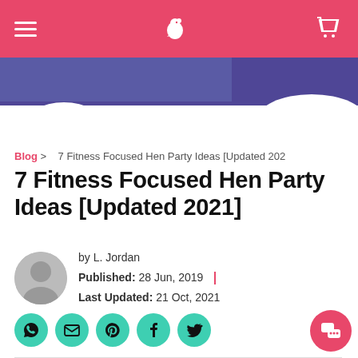Navigation header with hamburger menu, logo, and cart icon
[Figure (illustration): Decorative banner with purple clouds and white cloud shapes]
Blog > 7 Fitness Focused Hen Party Ideas [Updated 202
7 Fitness Focused Hen Party Ideas [Updated 2021]
by L. Jordan
Published: 28 Jun, 2019 | Last Updated: 21 Oct, 2021
[Figure (other): Social share buttons: WhatsApp, Email, Pinterest, Facebook, Twitter]